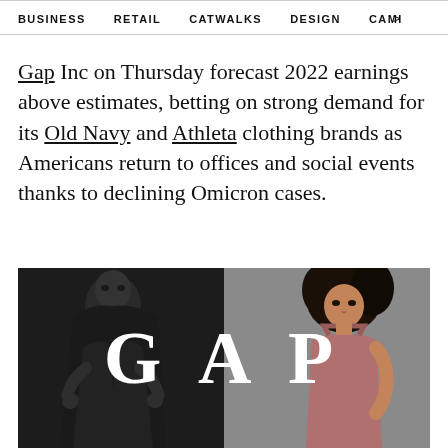BUSINESS   RETAIL   CATWALKS   DESIGN   CAMI >
Gap Inc on Thursday forecast 2022 earnings above estimates, betting on strong demand for its Old Navy and Athleta clothing brands as Americans return to offices and social events thanks to declining Omicron cases.
[Figure (photo): GAP brand advertisement image showing two models — a man in dark clothing on the left side (black and white) and a woman in a pink/mauve tank top on the right side (color), with large white 'GAP' lettering overlaid in the center]